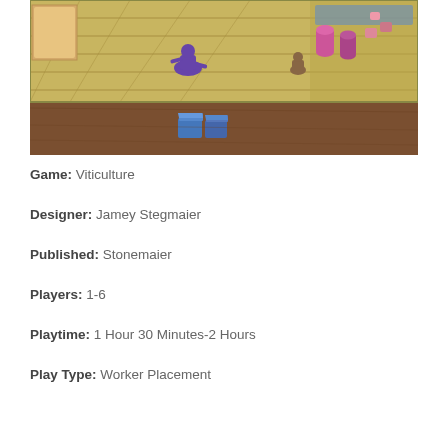[Figure (photo): Photo of a Viticulture board game in play on a wooden table, showing the colorful game board with fields and tracks, purple and pink wooden meeples and pieces, and blue cube pieces in the foreground.]
Game: Viticulture
Designer: Jamey Stegmaier
Published: Stonemaier
Players: 1-6
Playtime: 1 Hour 30 Minutes-2 Hours
Play Type: Worker Placement